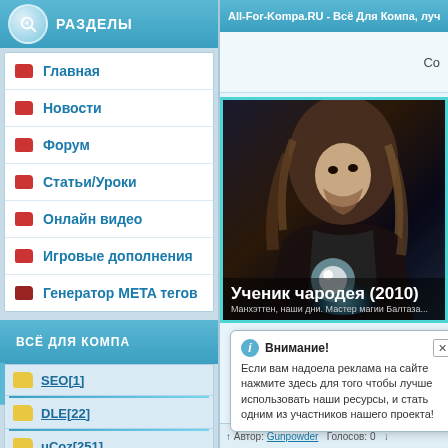РАЗДЕЛЫ
Главная
Новости
Форум
Статьи/Уроки
Онлайн видео
Игровые дополнения
Генератор META тегов
ВСЁ ДЛЯ КОМПА
SEO[1]
DLE[22]
uCoz[251]
Софт[1545]
Игры[3577]
All-For-Kompa.RU - Всё Для Компа, лучши
Со
[Figure (photo): Movie poster for Ученик чародея (2010) showing a man with long hair in a dark magical scene with glowing light effects]
Ученик чародея (2010)
Манхэттен, наши дни. Мастер магии Балтаза...
Внимание!
Если вам надоела реклама на сайте нажмите здесь для того чтобы лучше использовать наши ресурсы, и стать одним из участников нашего проекта!
Автор: Gunpowder   Голосов: 0